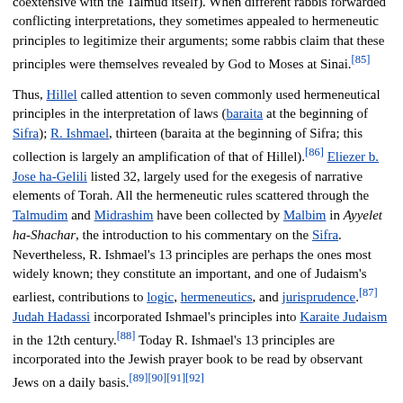written Torah were revealed to Moses at Sinai in oral form, and handed down from teacher to pupil (The oral revelation is in effect coextensive with the Talmud itself). When different rabbis forwarded conflicting interpretations, they sometimes appealed to hermeneutic principles to legitimize their arguments; some rabbis claim that these principles were themselves revealed by God to Moses at Sinai.[85]
Thus, Hillel called attention to seven commonly used hermeneutical principles in the interpretation of laws (baraita at the beginning of Sifra); R. Ishmael, thirteen (baraita at the beginning of Sifra; this collection is largely an amplification of that of Hillel).[86] Eliezer b. Jose ha-Gelili listed 32, largely used for the exegesis of narrative elements of Torah. All the hermeneutic rules scattered through the Talmudim and Midrashim have been collected by Malbim in Ayyelet ha-Shachar, the introduction to his commentary on the Sifra. Nevertheless, R. Ishmael's 13 principles are perhaps the ones most widely known; they constitute an important, and one of Judaism's earliest, contributions to logic, hermeneutics, and jurisprudence.[87] Judah Hadassi incorporated Ishmael's principles into Karaite Judaism in the 12th century.[88] Today R. Ishmael's 13 principles are incorporated into the Jewish prayer book to be read by observant Jews on a daily basis.[89][90][91][92]